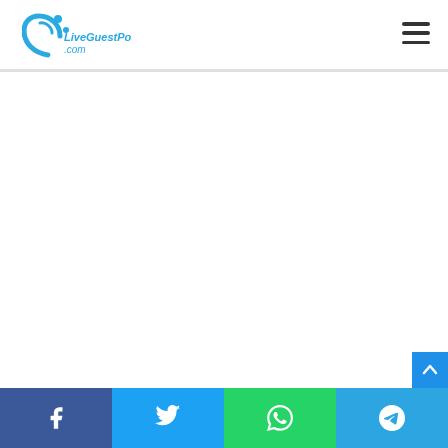[Figure (logo): LiveGuestPost.com logo with blue arc and dot design on the left, stylized text LiveGuestPost.com in blue]
[Figure (other): Hamburger menu icon (three horizontal lines) in the top right corner]
[Figure (other): Large blank white content area below the header]
[Figure (other): Blue scroll-to-top button with upward chevron arrow in bottom right]
[Figure (other): Social sharing bar at the bottom with four buttons: Facebook (blue), Twitter (light blue), WhatsApp (green), Telegram (blue)]